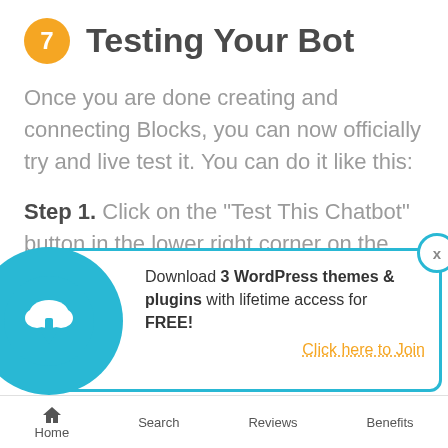7 Testing Your Bot
Once you are done creating and connecting Blocks, you can now officially try and live test it. You can do it like this:
Step 1. Click on the “Test This Chatbot” button in the lower right corner on the Build
[Figure (infographic): Popup banner with cloud download icon. Text: Download 3 WordPress themes & plugins with lifetime access for FREE! Click here to Join]
Home   Search   Reviews   Benefits